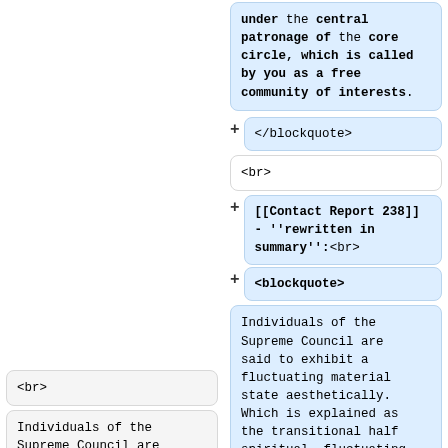under the central patronage of the core circle, which is called by you as a free community of interests.
</blockquote>
<br>
<br>
[[Contact Report 238]] - ''rewritten in summary'':<br>
<blockquote>
Individuals of the Supreme Council are said to exhibit a fluctuating material state aesthetically. Which is explained as the transitional half spiritual, fluctuating,
Individuals of the Supreme Council are said to exhibit a fluctuating material state aesthetically. Which is explained as the transitional half spiritual, fluctuating,